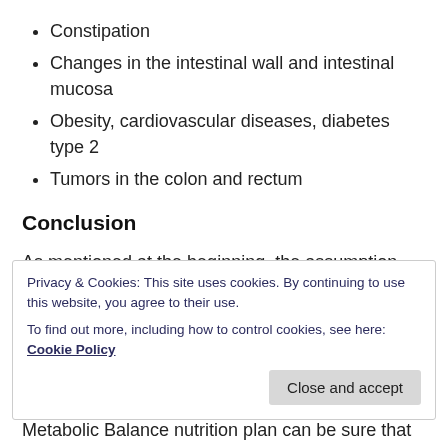Constipation
Changes in the intestinal wall and intestinal mucosa
Obesity, cardiovascular diseases, diabetes type 2
Tumors in the colon and rectum
Conclusion
As mentioned at the beginning, the assumption that fiber is unimportant and does not benefit our health can be clearly refuted. A sufficient daily intake of fiber is essential for a balanced and healthy nutrition. This
Metabolic Balance nutrition plan can be sure that